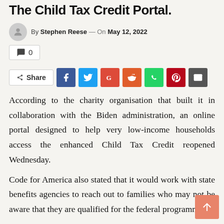The Child Tax Credit Portal.
By Stephen Reese — On May 12, 2022
💬 0
Share [Facebook] [Twitter] [Google] [Reddit] [WhatsApp] [Pinterest] [Email]
According to the charity organisation that built it in collaboration with the Biden administration, an online portal designed to help very low-income households access the enhanced Child Tax Credit reopened Wednesday.
Code for America also stated that it would work with state benefits agencies to reach out to families who may not be aware that they are qualified for the federal programme.
The GetCTC portal was taken offline earlier this year